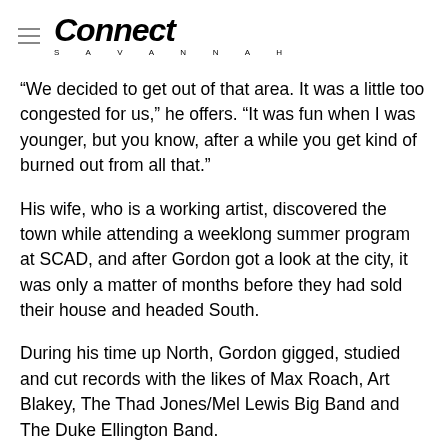Connect Savannah
“We decided to get out of that area. It was a little too congested for us,” he offers. “It was fun when I was younger, but you know, after a while you get kind of burned out from all that.”
His wife, who is a working artist, discovered the town while attending a weeklong summer program at SCAD, and after Gordon got a look at the city, it was only a matter of months before they had sold their house and headed South.
During his time up North, Gordon gigged, studied and cut records with the likes of Max Roach, Art Blakey, The Thad Jones/Mel Lewis Big Band and The Duke Ellington Band.
He also appeared in the celebrated film Cotton Club, and accompanied the great Lena Horne on Broadway.